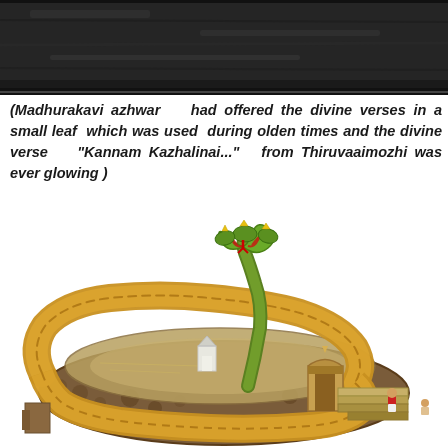[Figure (photo): Dark textured stone or rock surface photograph at the top of the page]
(Madhurakavi azhwar   had offered the divine verses  in a small leaf  which was used  during olden times and the divine verse    “Kannam Kazhalinai...”   from  Thiruvaaimozhi was ever glowing )
[Figure (illustration): Illustration of a large serpent (Adishesha/Ananta) coiled in an oval shape forming a temple tank or sacred enclosure, with a multi-headed cobra rising from the center, a small white shrine in the middle, ornate temple gateway, and a devotee figure on the right side steps. The serpent has golden-yellow and brown scales.]